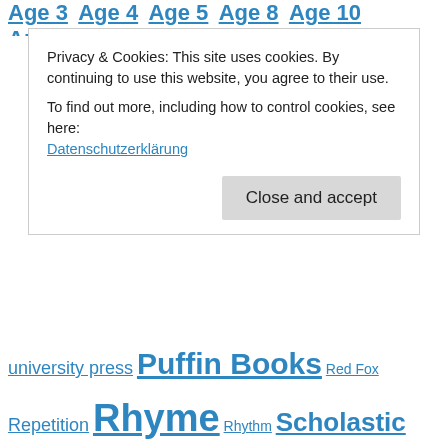Age 3 Age 4 Age 5 Age 8 Age 10 Animals
Privacy & Cookies: This site uses cookies. By continuing to use this website, you agree to their use.
To find out more, including how to control cookies, see here:
Datenschutzerklärung
Close and accept
university press Puffin Books Red Fox Repetition Rhyme Rhythm Scholastic Simon & Schuster Spanish Templar Walker Books
Book Blogs We Like
Picture Book Den
Mamma Filz
My Book Corner
Booklover Jo
Clare Helen Welsh – Books That Help
Discover Children's Books